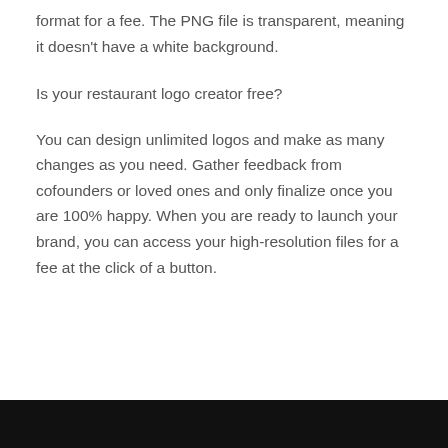format for a fee. The PNG file is transparent, meaning it doesn't have a white background.
Is your restaurant logo creator free?
You can design unlimited logos and make as many changes as you need. Gather feedback from cofounders or loved ones and only finalize once you are 100% happy. When you are ready to launch your brand, you can access your high-resolution files for a fee at the click of a button.